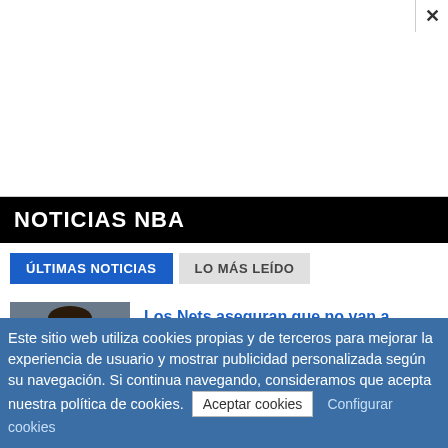[Figure (other): Advertisement area with close (X) button in top right corner, mostly white/blank space]
NOTICIAS NBA
ÚLTIMAS NOTICIAS | LO MÁS LEÍDO
[Figure (photo): Photo of Kevin Durant basketball player]
Los Nets aseguran que no van a traspasar a Kevin Durant
Este sitio web utiliza cookies propias y de terceros para mejorar la experiencia de usuario y mostrar publicidad personalizada según su navegación. Si continua navegando, consideramos que acepta nuestra política de cookies. Aceptar cookies Configurar cookies